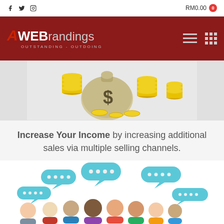f  twitter  instagram    RM0.00  [cart: 0]
[Figure (logo): AWEBrandings logo with tagline OUTSTANDING - OUTDOING on dark red background with hamburger menu and grid menu icons]
[Figure (illustration): Illustration of a money bag with dollar sign and stacks of gold coins]
Increase Your Income by increasing additional sales via multiple selling channels.
[Figure (illustration): Illustration of a diverse group of people with chat/speech bubbles above them in teal/blue color]